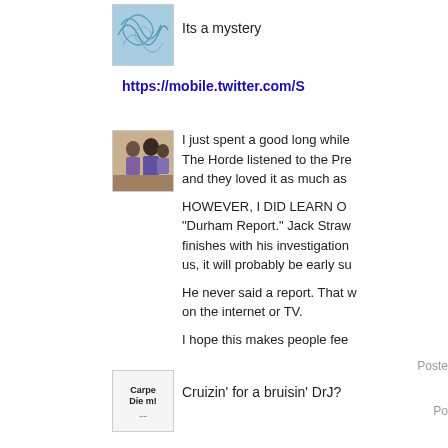[Figure (photo): Avatar image with blue abstract squiggle pattern]
Its a mystery
https://mobile.twitter.com/S
[Figure (photo): Avatar photo showing group of people]
I just spent a good long while The Horde listened to the Pre and they loved it as much as
HOWEVER, I DID LEARN O "Durham Report." Jack Straw finishes with his investigation us, it will probably be early su
He never said a report. That w on the internet or TV.
I hope this makes people fee
Poste
[Figure (photo): Avatar image with Carpe Diem text]
Cruizin' for a bruisin' DrJ?
Po